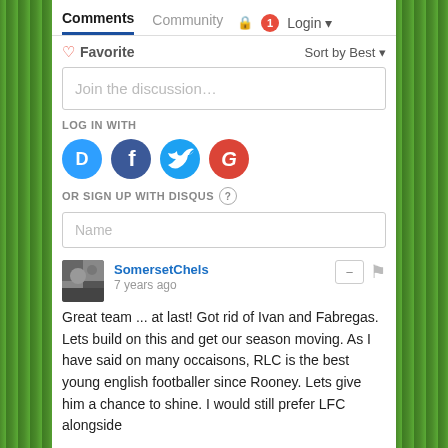Comments  Community  Login
Favorite  Sort by Best
Join the discussion…
LOG IN WITH
[Figure (infographic): Social login icons: Disqus (D), Facebook (f), Twitter bird, Google (G)]
OR SIGN UP WITH DISQUS ?
Name
SomersetChels
7 years ago
Great team ... at last! Got rid of Ivan and Fabregas. Lets build on this and get our season moving. As I have said on many occaisons, RLC is the best young english footballer since Rooney. Lets give him a chance to shine. I would still prefer LFC alongside